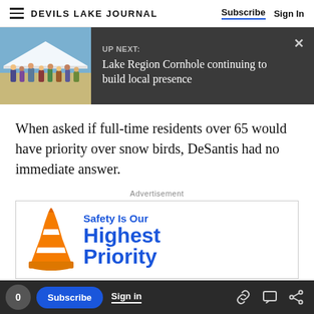DEVILS LAKE JOURNAL | Subscribe | Sign In
[Figure (screenshot): UP NEXT banner with thumbnail image of outdoor event and text: Lake Region Cornhole continuing to build local presence]
When asked if full-time residents over 65 would have priority over snow birds, DeSantis had no immediate answer.
Advertisement
[Figure (infographic): Advertisement with traffic cone graphic and text: Safety Is Our Highest Priority]
0 | Subscribe | Sign in | [link icon] [comment icon] [share icon]